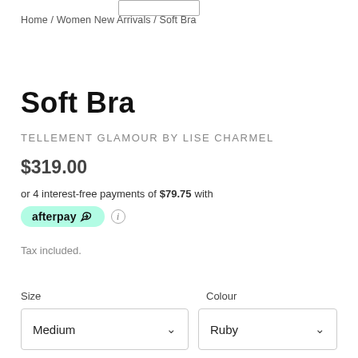[Figure (logo): Small rectangular logo/image at top center, partially cropped]
Home / Women New Arrivals / Soft Bra
Soft Bra
TELLEMENT GLAMOUR BY LISE CHARMEL
$319.00
or 4 interest-free payments of $79.75 with
[Figure (logo): Afterpay logo badge in mint/teal green rounded rectangle]
Tax included.
Size
Colour
Medium
Ruby